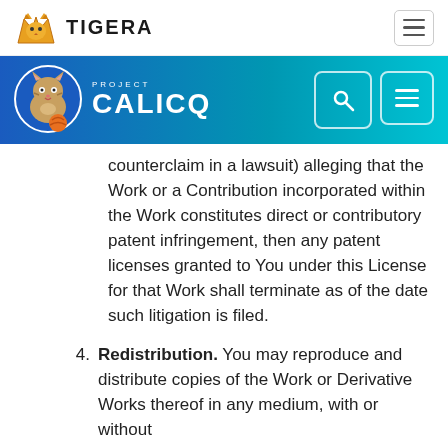[Figure (logo): Tigera logo with orange tiger/cat icon and bold text TIGERA]
[Figure (logo): Project Calico logo on blue gradient banner with search and menu buttons]
counterclaim in a lawsuit) alleging that the Work or a Contribution incorporated within the Work constitutes direct or contributory patent infringement, then any patent licenses granted to You under this License for that Work shall terminate as of the date such litigation is filed.
4. Redistribution. You may reproduce and distribute copies of the Work or Derivative Works thereof in any medium, with or without